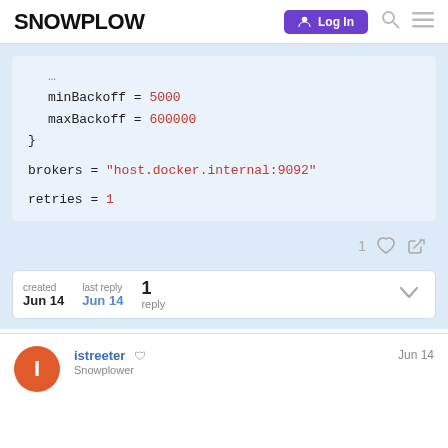SNOWPLOW | Log In
minBackoff = 5000
    maxBackoff = 600000
  }

  brokers = "host.docker.internal:9092"

  retries = 1
1 ♡ 🔗
created Jun 14   last reply Jun 14   1 reply
istreeter 🛡 Snowplower   Jun 14